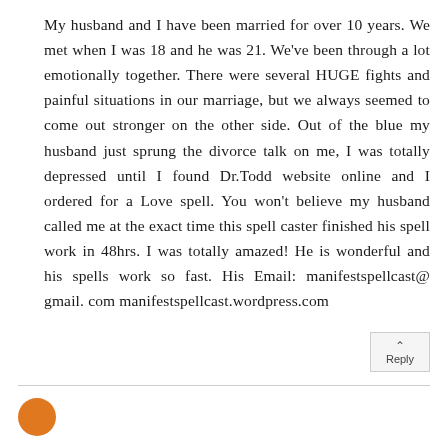My husband and I have been married for over 10 years. We met when I was 18 and he was 21. We've been through a lot emotionally together. There were several HUGE fights and painful situations in our marriage, but we always seemed to come out stronger on the other side. Out of the blue my husband just sprung the divorce talk on me, I was totally depressed until I found Dr.Todd website online and I ordered for a Love spell. You won't believe my husband called me at the exact time this spell caster finished his spell work in 48hrs. I was totally amazed! He is wonderful and his spells work so fast. His Email: manifestspellcast@ gmail. com manifestspellcast.wordpress.com